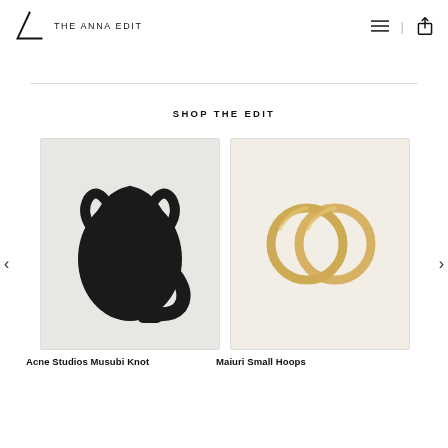THE ANNA EDIT
SHOP THE EDIT
[Figure (photo): Black leather bucket bag by Acne Studios Musubi Knot on light grey background]
Acne Studios Musubi Knot
[Figure (photo): Two gold hoop earrings (Maiuri Small Hoops) on cream/off-white background]
Maiuri Small Hoops